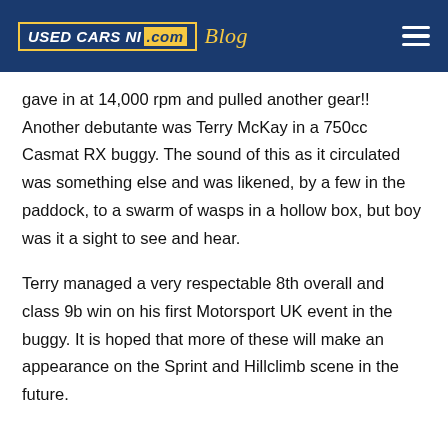USED CARS NI .com Blog
gave in at 14,000 rpm and pulled another gear!! Another debutante was Terry McKay in a 750cc Casmat RX buggy. The sound of this as it circulated was something else and was likened, by a few in the paddock, to a swarm of wasps in a hollow box, but boy was it a sight to see and hear.
Terry managed a very respectable 8th overall and class 9b win on his first Motorsport UK event in the buggy. It is hoped that more of these will make an appearance on the Sprint and Hillclimb scene in the future.